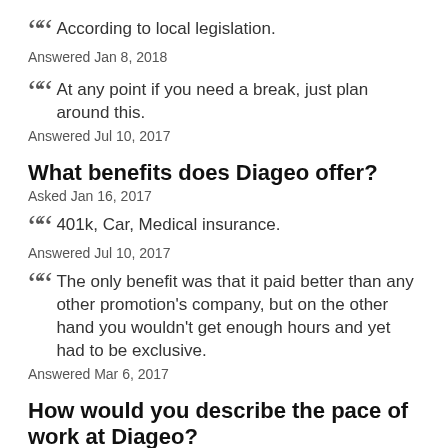According to local legislation.
Answered Jan 8, 2018
At any point if you need a break, just plan around this.
Answered Jul 10, 2017
What benefits does Diageo offer?
Asked Jan 16, 2017
401k, Car, Medical insurance.
Answered Jul 10, 2017
The only benefit was that it paid better than any other promotion's company, but on the other hand you wouldn't get enough hours and yet had to be exclusive.
Answered Mar 6, 2017
How would you describe the pace of work at Diageo?